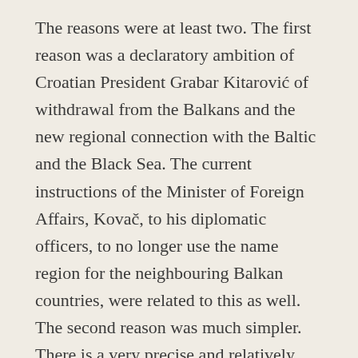The reasons were at least two. The first reason was a declaratory ambition of Croatian President Grabar Kitarović of withdrawal from the Balkans and the new regional connection with the Baltic and the Black Sea. The current instructions of the Minister of Foreign Affairs, Kovač, to his diplomatic officers, to no longer use the name region for the neighbouring Balkan countries, were related to this as well. The second reason was much simpler. There is a very precise and relatively long diplomatic negotiating work behind the general political decisions on the regulation of relations between Serbia and Croatia, on the determination of the constitutional succession issue, the issue of return of expelled and displaced persons, the